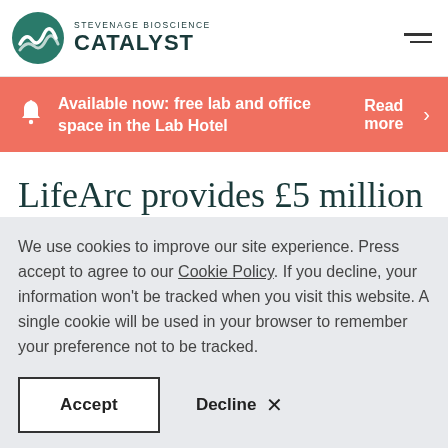Stevenage Bioscience Catalyst
Available now: free lab and office space in the Lab Hotel Read more
LifeArc provides £5 million
We use cookies to improve our site experience. Press accept to agree to our Cookie Policy. If you decline, your information won't be tracked when you visit this website. A single cookie will be used in your browser to remember your preference not to be tracked.
Accept   Decline ×